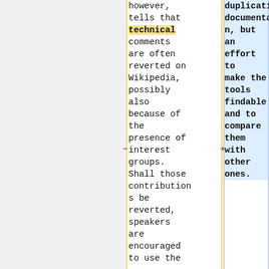however, tells that technical comments are often reverted on Wikipedia, possibly also because of the presence of interest groups. Shall those contributions be reverted, speakers are encouraged to use the
duplicating documentation, but an effort to make the tools findable and to compare them with other ones.